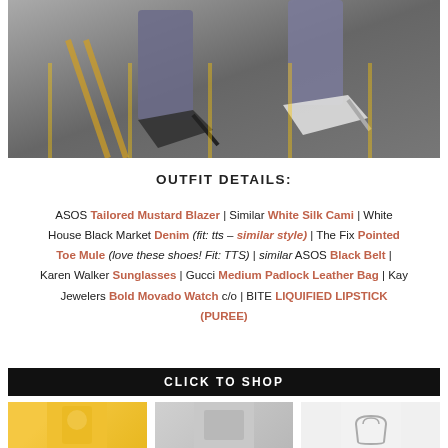[Figure (photo): Close-up photo of legs walking on a street/road surface, wearing cropped jeans and pointed-toe mule heels. One shoe is dark/black, the other is light/beige cream colored.]
OUTFIT DETAILS:
ASOS Tailored Mustard Blazer | Similar White Silk Cami | White House Black Market Denim (fit: tts – similar style) | The Fix Pointed Toe Mule (love these shoes! Fit: TTS) | similar ASOS Black Belt | Karen Walker Sunglasses | Gucci Medium Padlock Leather Bag | Kay Jewelers Bold Movado Watch c/o | BITE LIQUIFIED LIPSTICK (PUREE)
CLICK TO SHOP
[Figure (photo): Product thumbnail showing a woman in a yellow/mustard blazer]
[Figure (photo): Product thumbnail showing a gray/neutral item]
[Figure (photo): Product thumbnail showing a bag or accessory]